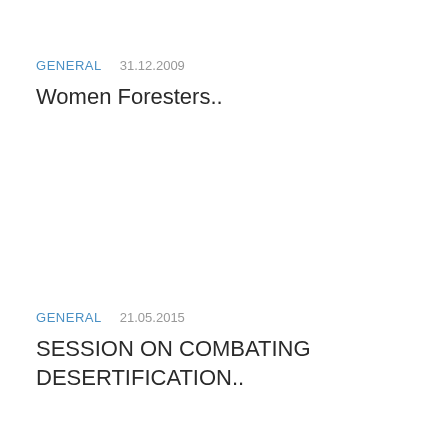GENERAL    31.12.2009
Women Foresters..
GENERAL    21.05.2015
SESSION ON COMBATING DESERTIFICATION..